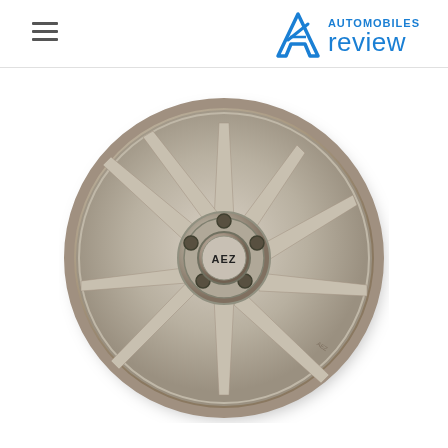AUTOMOBILES review
[Figure (photo): An AEZ brand alloy wheel with 10 spokes in a silver/brushed finish, viewed from slightly above front angle. The center cap shows the AEZ logo. The wheel has a sporty multi-spoke design.]